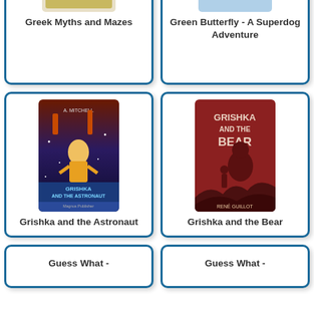[Figure (illustration): Book cover for Greek Myths and Mazes (partially cropped at top)]
Greek Myths and Mazes
[Figure (illustration): Book cover for Green Butterfly - A Superdog Adventure (partially cropped at top)]
Green Butterfly - A Superdog Adventure
[Figure (illustration): Book cover for Grishka and the Astronaut, colorful illustration with space theme]
Grishka and the Astronaut
[Figure (illustration): Book cover for Grishka and the Bear, red cover with bear and child silhouette, by Rene Guillot]
Grishka and the Bear
[Figure (illustration): Partial book cover for Guess What - (cropped)]
Guess What -
[Figure (illustration): Partial book cover for Guess What - (cropped)]
Guess What -